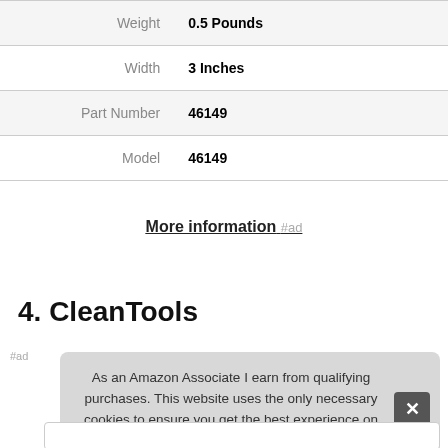| Attribute | Value |
| --- | --- |
| Weight | 0.5 Pounds |
| Width | 3 Inches |
| Part Number | 46149 |
| Model | 46149 |
More information #ad
4. CleanTools
#ad
As an Amazon Associate I earn from qualifying purchases. This website uses the only necessary cookies to ensure you get the best experience on our website. More information